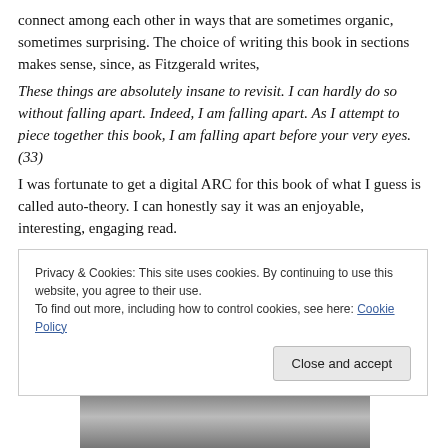connect among each other in ways that are sometimes organic, sometimes surprising. The choice of writing this book in sections makes sense, since, as Fitzgerald writes,
These things are absolutely insane to revisit. I can hardly do so without falling apart. Indeed, I am falling apart. As I attempt to piece together this book, I am falling apart before your very eyes. (33)
I was fortunate to get a digital ARC for this book of what I guess is called auto-theory. I can honestly say it was an enjoyable, interesting, engaging read.
Privacy & Cookies: This site uses cookies. By continuing to use this website, you agree to their use.
To find out more, including how to control cookies, see here: Cookie Policy
[Figure (photo): Partial view of a photo strip at the bottom of the page showing a blurred figure.]